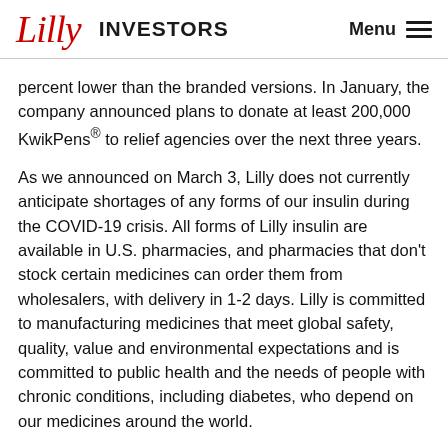Lilly INVESTORS Menu
percent lower than the branded versions. In January, the company announced plans to donate at least 200,000 KwikPens® to relief agencies over the next three years.
As we announced on March 3, Lilly does not currently anticipate shortages of any forms of our insulin during the COVID-19 crisis. All forms of Lilly insulin are available in U.S. pharmacies, and pharmacies that don't stock certain medicines can order them from wholesalers, with delivery in 1-2 days. Lilly is committed to manufacturing medicines that meet global safety, quality, value and environmental expectations and is committed to public health and the needs of people with chronic conditions, including diabetes, who depend on our medicines around the world.